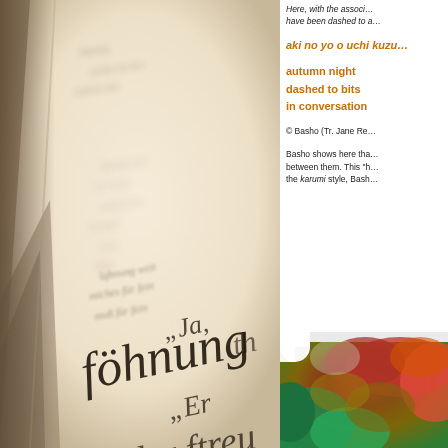[Figure (photo): Close-up of an old book with German blackletter text, sepia toned, showing words like 'söhnung', 'Er', 'der ftreu', viewed at an angle with shallow depth of field]
Here, with the associ... have been dashed to a...
aki no yo o uchi kuzu...
autumn night
dashed to bits
in conversation
© Basho (Tr. Jane Re...
Basho shows here tha... between them. This "h... the karumi style, Bash...
[Figure (photo): Autumn foliage photo showing red and green trees, partially visible in bottom right corner]